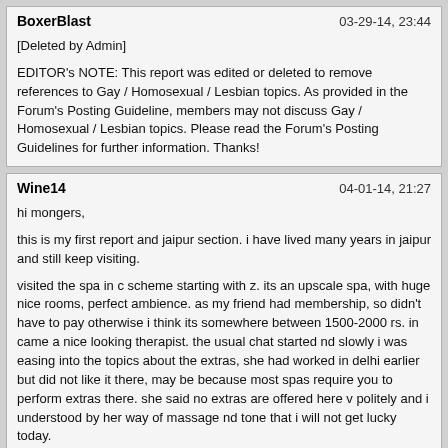BoxerBlast | 03-29-14, 23:44
[Deleted by Admin]
EDITOR's NOTE: This report was edited or deleted to remove references to Gay / Homosexual / Lesbian topics. As provided in the Forum's Posting Guideline, members may not discuss Gay / Homosexual / Lesbian topics. Please read the Forum's Posting Guidelines for further information. Thanks!
Wine14 | 04-01-14, 21:27
hi mongers,
this is my first report and jaipur section. i have lived many years in jaipur and still keep visiting.
visited the spa in c scheme starting with z. its an upscale spa, with huge nice rooms, perfect ambience. as my friend had membership, so didn't have to pay otherwise i think its somewhere between 1500-2000 rs. in came a nice looking therapist. the usual chat started nd slowly i was easing into the topics about the extras, she had worked in delhi earlier but did not like it there, may be because most spas require you to perform extras there. she said no extras are offered here v politely and i understood by her way of massage nd tone that i will not get lucky today.
so guys, if you want a nice massage then only go to this spa otherwise its a klpd.
cheers
Wine14 | 04-02-14, 00:25
Hello mongers,
This happened sometime last year. Me and my friends were in the mood, called the SP (my friend knew him), had a look at some pics, selected one...